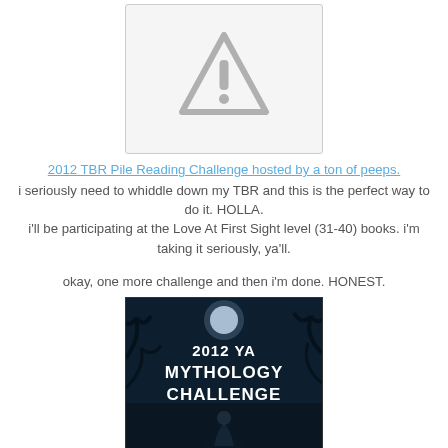[Figure (illustration): Placeholder image with warning triangle icon (exclamation mark inside triangle), light gray background with border]
2012 TBR Pile Reading Challenge hosted by a ton of peeps. i seriously need to whiddle down my TBR and this is the perfect way to do it. HOLLA. i'll be participating at the Love At First Sight level (31-40) books. i'm taking it seriously, ya'll.
okay, one more challenge and then i'm done. HONEST.
[Figure (illustration): 2012 YA Mythology Challenge book cover image with dark forest background, moon, and female figure with white text overlay reading '2012 YA MYTHOLOGY CHALLENGE']